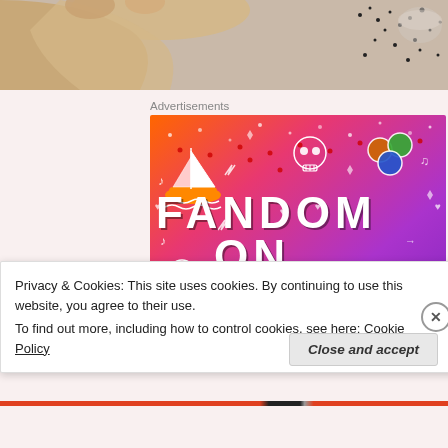[Figure (photo): Top portion of a photo showing a hand and scattered dark dots/sprinkles on a light background]
Advertisements
[Figure (illustration): Fandom on Tumblr advertisement banner with colorful gradient background (orange to purple), white doodle icons (sailboat, skull, dice, musical notes, arrows, hearts), and bold text reading FANDOM ON tumblr]
Privacy & Cookies: This site uses cookies. By continuing to use this website, you agree to their use.
To find out more, including how to control cookies, see here: Cookie Policy
Close and accept